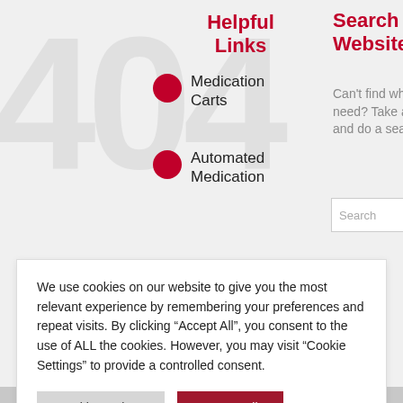Helpful Links
Medication Carts
Automated Medication
Search Our Website
Can't find what you need? Take a moment and do a search below!
We use cookies on our website to give you the most relevant experience by remembering your preferences and repeat visits. By clicking “Accept All”, you consent to the use of ALL the cookies. However, you may visit "Cookie Settings" to provide a controlled consent.